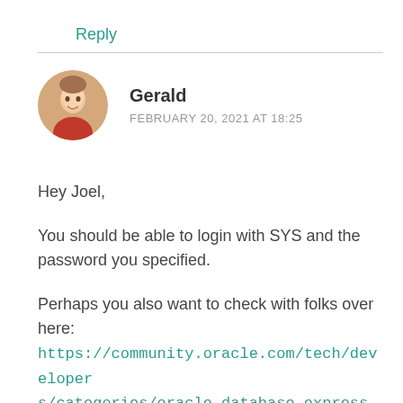Reply
Gerald
FEBRUARY 20, 2021 AT 18:25
Hey Joel,
You should be able to login with SYS and the password you specified.
Perhaps you also want to check with folks over here: https://community.oracle.com/tech/developers/categories/oracle_database_express_edition_xe